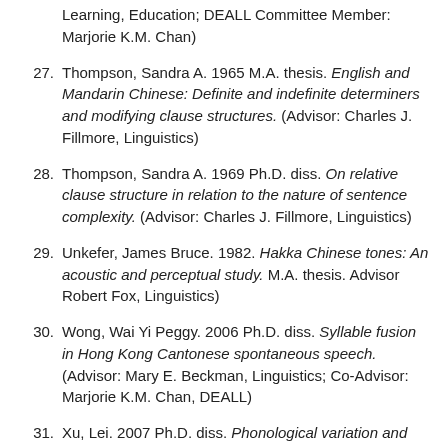Learning, Education; DEALL Committee Member: Marjorie K.M. Chan)
27. Thompson, Sandra A. 1965 M.A. thesis. English and Mandarin Chinese: Definite and indefinite determiners and modifying clause structures. (Advisor: Charles J. Fillmore, Linguistics)
28. Thompson, Sandra A. 1969 Ph.D. diss. On relative clause structure in relation to the nature of sentence complexity. (Advisor: Charles J. Fillmore, Linguistics)
29. Unkefer, James Bruce. 1982. Hakka Chinese tones: An acoustic and perceptual study. M.A. thesis. Advisor Robert Fox, Linguistics)
30. Wong, Wai Yi Peggy. 2006 Ph.D. diss. Syllable fusion in Hong Kong Cantonese spontaneous speech. (Advisor: Mary E. Beckman, Linguistics; Co-Advisor: Marjorie K.M. Chan, DEALL)
31. Xu, Lei. 2007 Ph.D. diss. Phonological variation and